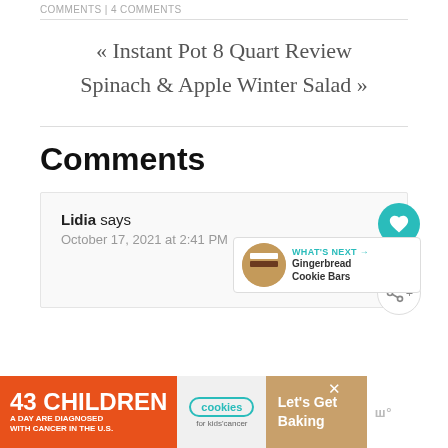COMMENTS | 4 COMMENTS
« Instant Pot 8 Quart Review
Spinach & Apple Winter Salad »
Comments
Lidia says
October 17, 2021 at 2:41 PM
[Figure (other): WHAT'S NEXT arrow with Gingerbread Cookie Bars thumbnail]
[Figure (other): Advertisement banner: 43 Children A Day Are Diagnosed With Cancer in the U.S. - cookies for kids cancer - Let's Get Baking]